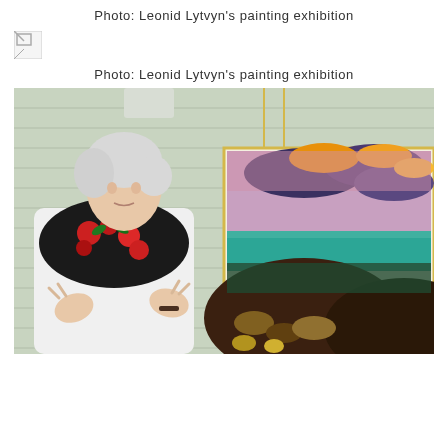Photo: Leonid Lytvyn's painting exhibition
[Figure (photo): Broken image placeholder icon (small image with torn corner indicator)]
Photo: Leonid Lytvyn's painting exhibition
[Figure (photo): Photograph of an elderly woman with short white hair, wearing a white floral blouse and a black scarf with red roses, gesturing with both hands while standing next to a large colorful expressionist landscape painting hung on a pale green wall. The painting depicts a dramatic sky with dark clouds, teal water, and dark earth tones.]